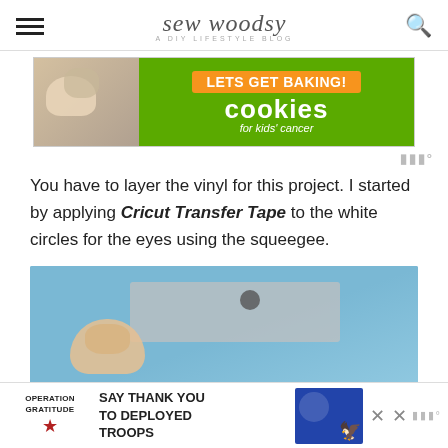sew woodsy — A DIY LIFESTYLE BLOG
[Figure (screenshot): Advertisement banner for 'Cookies for Kids Cancer' with 'LETS GET BAKING!' orange button on green background, with hands holding dough on the left]
You have to layer the vinyl for this project. I started by applying Cricut Transfer Tape to the white circles for the eyes using the squeegee.
[Figure (photo): Photo of a hand pressing down on a blue cutting mat with a grey piece and a circular element visible]
[Figure (screenshot): Advertisement for Operation Gratitude: SAY THANK YOU TO DEPLOYED TROOPS, with patriotic imagery]